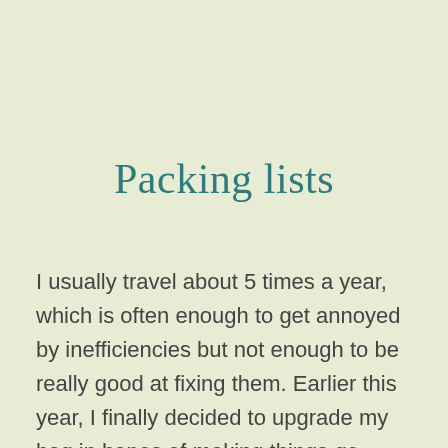Packing lists
I usually travel about 5 times a year, which is often enough to get annoyed by inefficiencies but not enough to be really good at fixing them. Earlier this year, I finally decided to upgrade my bag in hopes of making things go more smoothly. While doing my research, I